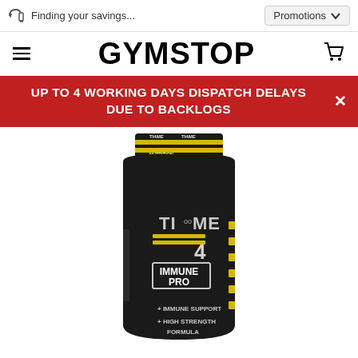Finding your savings... | Promotions
GYMSTOP
UP TO 4 WORKING DAYS DISPATCH DELAYS DUE TO BACKLOGS
[Figure (photo): A black supplement bottle labeled TI4ME IMMUNE PRO with yellow stripe accents, stating + IMMUNE SUPPORT + HIGH STRENGTH FORMULA]